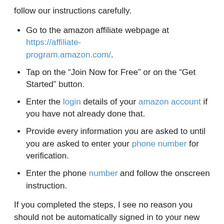follow our instructions carefully.
Go to the amazon affiliate webpage at https://affiliate-program.amazon.com/.
Tap on the “Join Now for Free” or on the “Get Started” button.
Enter the login details of your amazon account if you have not already done that.
Provide every information you are asked to until you are asked to enter your phone number for verification.
Enter the phone number and follow the onscreen instruction.
If you completed the steps, I see no reason you should not be automatically signed in to your new affiliate account.